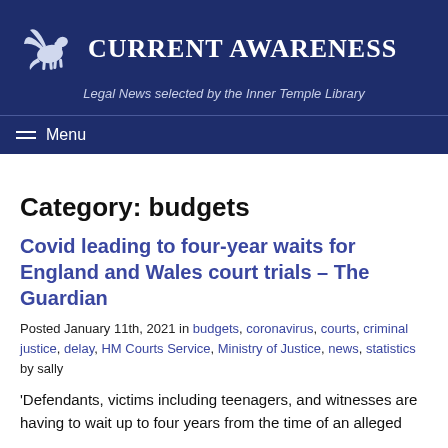CURRENT AWARENESS — Legal News selected by the Inner Temple Library
Category: budgets
Covid leading to four-year waits for England and Wales court trials – The Guardian
Posted January 11th, 2021 in budgets, coronavirus, courts, criminal justice, delay, HM Courts Service, Ministry of Justice, news, statistics by sally
'Defendants, victims including teenagers, and witnesses are having to wait up to four years from the time of an alleged